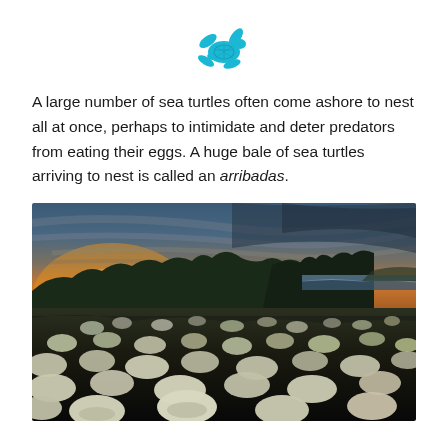[Figure (illustration): Cyan/teal sea turtle icon silhouette centered at top of page]
A large number of sea turtles often come ashore to nest all at once, perhaps to intimidate and deter predators from eating their eggs. A huge bale of sea turtles arriving to nest is called an arribadas.
[Figure (photo): Photograph of a beach at sunset/dusk with hundreds of sea turtles nesting on the dark sand. Trees silhouetted against an orange and blue sky in the background, ocean visible on the right horizon.]